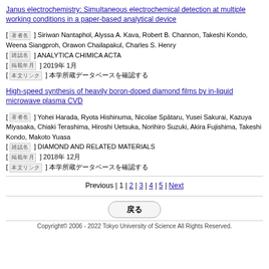Janus electrochemistry: Simultaneous electrochemical detection at multiple working conditions in a paper-based analytical device
[ 著者名 ] Siriwan Nantaphol, Alyssa A. Kava, Robert B. Channon, Takeshi Kondo, Weena Siangproh, Orawon Chailapakul, Charles S. Henry
[ 雑誌名 ] ANALYTICA CHIMICA ACTA
[ 掲載年月 ] 2019年 1月
[ 本文リンク ] 本学所蔵データベースを確認する
High-speed synthesis of heavily boron-doped diamond films by in-liquid microwave plasma CVD
[ 著者名 ] Yohei Harada, Ryota Hishinuma, Nicolae Spātaru, Yusei Sakurai, Kazuya Miyasaka, Chiaki Terashima, Hiroshi Uetsuka, Norihiro Suzuki, Akira Fujishima, Takeshi Kondo, Makoto Yuasa
[ 雑誌名 ] DIAMOND AND RELATED MATERIALS
[ 掲載年月 ] 2018年 12月
[ 本文リンク ] 本学所蔵データベースを確認する
Previous | 1 | 2 | 3 | 4 | 5 | Next
戻る
Copyright© 2006 - 2022 Tokyo University of Science All Rights Reserved.